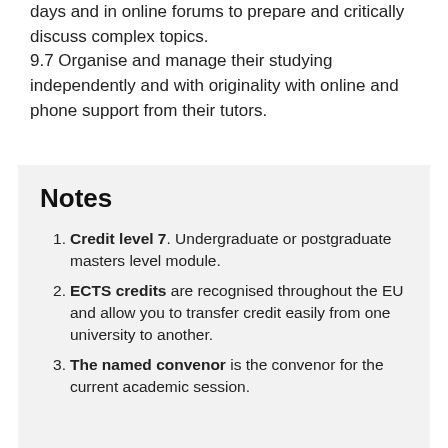days and in online forums to prepare and critically discuss complex topics.
9.7 Organise and manage their studying independently and with originality with online and phone support from their tutors.
Notes
Credit level 7. Undergraduate or postgraduate masters level module.
ECTS credits are recognised throughout the EU and allow you to transfer credit easily from one university to another.
The named convenor is the convenor for the current academic session.